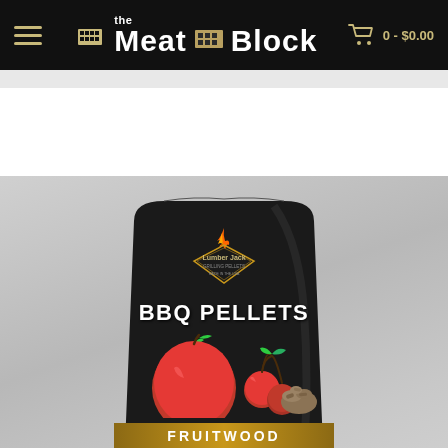the Meat Block — 0 - $0.00
[Figure (photo): Lumber Jack BBQ Pellets Fruitwood bag product photo on gray background. Black standup pouch with Lumber Jack Grilling Pellets logo at top featuring flame graphic, large white text 'BBQ PELLETS', images of red apple, cherries, and wood pellets, gold banner reading 'FRUITWOOD', and three bullet points: '100% Virgin Tree Fiber with NO Aditives', 'Formulated for Maximum Heat, Smoke, and Flavor', 'For use in Wood Pellet Grills and Smokers'.]